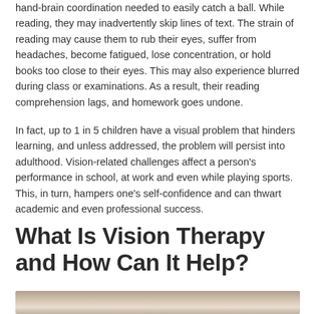hand-brain coordination needed to easily catch a ball. While reading, they may inadvertently skip lines of text. The strain of reading may cause them to rub their eyes, suffer from headaches, become fatigued, lose concentration, or hold books too close to their eyes. This may also experience blurred during class or examinations. As a result, their reading comprehension lags, and homework goes undone.
In fact, up to 1 in 5 children have a visual problem that hinders learning, and unless addressed, the problem will persist into adulthood. Vision-related challenges affect a person's performance in school, at work and even while playing sports. This, in turn, hampers one's self-confidence and can thwart academic and even professional success.
What Is Vision Therapy and How Can It Help?
[Figure (photo): Photo of a person doing vision therapy exercises, showing hands and eyes near paper/objects on a table surface.]